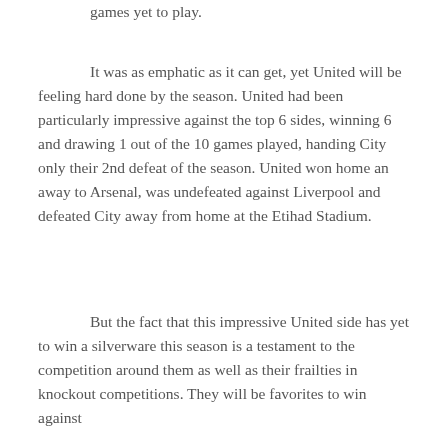games yet to play.
It was as emphatic as it can get, yet United will be feeling hard done by the season. United had been particularly impressive against the top 6 sides, winning 6 and drawing 1 out of the 10 games played, handing City only their 2nd defeat of the season. United won home an away to Arsenal, was undefeated against Liverpool and defeated City away from home at the Etihad Stadium.
But the fact that this impressive United side has yet to win a silverware this season is a testament to the competition around them as well as their frailties in knockout competitions. They will be favorites to win against